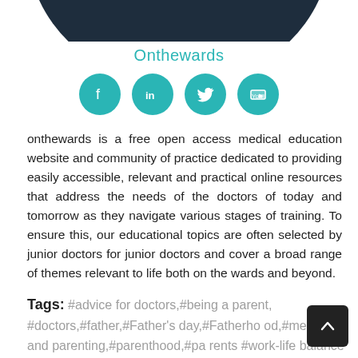[Figure (illustration): Dark teal circular profile image arc visible at top of page]
Onthewards
[Figure (infographic): Four teal circular social media icons: Facebook, LinkedIn, Twitter, YouTube]
onthewards is a free open access medical education website and community of practice dedicated to providing easily accessible, relevant and practical online resources that address the needs of the doctors of today and tomorrow as they navigate various stages of training. To ensure this, our educational topics are often selected by junior doctors for junior doctors and cover a broad range of themes relevant to life both on the wards and beyond.
Tags: #advice for doctors,#being a parent, #doctors,#father,#Father's day,#Fatherhood,#medicine and parenting,#parenthood,#parents #work-life balance #working in medicine